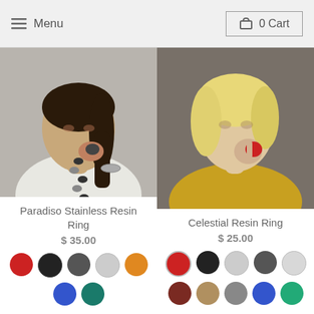Menu  0 Cart
[Figure (photo): Woman wearing a long stainless resin bead necklace and bracelet, dressed in white, looking down]
Paradiso Stainless Resin Ring
$ 35.00
[Figure (photo): Blonde woman in yellow top wearing a red resin ring, holding it up to her lips]
Celestial Resin Ring
$ 25.00